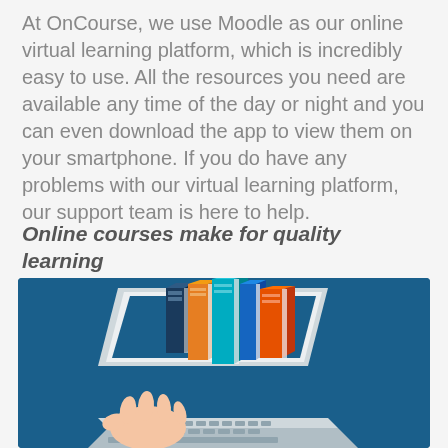At OnCourse, we use Moodle as our online virtual learning platform, which is incredibly easy to use. All the resources you need are available any time of the day or night and you can even download the app to view them on your smartphone. If you do have any problems with our virtual learning platform, our support team is here to help.
Online courses make for quality learning
[Figure (illustration): Illustration on a dark blue background showing a laptop with colorful books (blue, orange, teal, orange) standing upright on its keyboard, emerging from the screen like a digital library. A hand is shown typing on the keyboard.]